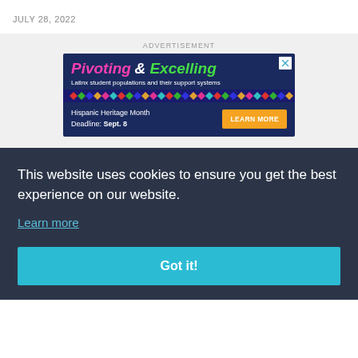JULY 28, 2022
ADVERTISEMENT
[Figure (other): Advertisement banner for 'Pivoting & Excelling' about Latinx student populations and their support systems. Hispanic Heritage Month, Deadline: Sept. 8, with a LEARN MORE button.]
This website uses cookies to ensure you get the best experience on our website. Learn more
Got it!